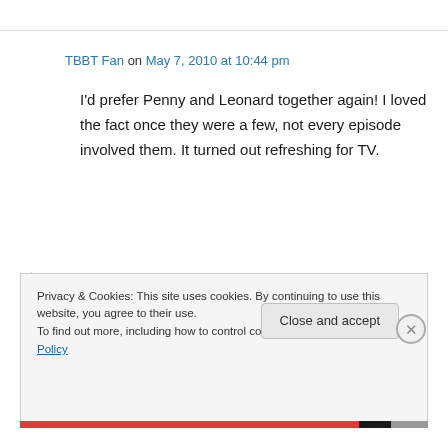TBBT Fan on May 7, 2010 at 10:44 pm
I'd prefer Penny and Leonard together again! I loved the fact once they were a few, not every episode involved them. It turned out refreshing for TV.
↳ Reply
Privacy & Cookies: This site uses cookies. By continuing to use this website, you agree to their use. To find out more, including how to control cookies, see here: Cookie Policy
Close and accept